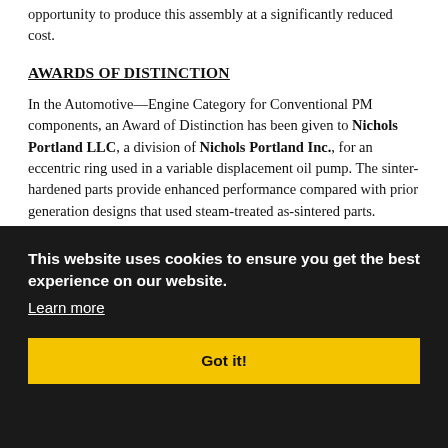opportunity to produce this assembly at a significantly reduced cost.
AWARDS OF DISTINCTION
In the Automotive—Engine Category for Conventional PM components, an Award of Distinction has been given to Nichols Portland LLC, a division of Nichols Portland Inc., for an eccentric ring used in a variable displacement oil pump. The sinter-hardened parts provide enhanced performance compared with prior generation designs that used steam-treated as-sintered parts.
In the Automotive—Engine Category for Conventional PM components, an Award of Distinction has also been given to DSB Technologies, LLC, formerly SSI Sintered Specialties LLC, and customer Purem by Eberspaecher, for a 309L stainless steel sensor boss that is welded to an automotive exhaust system and holds a sensor for monitoring engine performance.
This website uses cookies to ensure you get the best experience on our website.
Learn more
Got it!